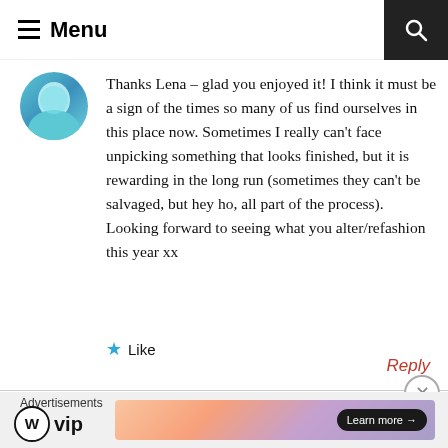Menu
Thanks Lena – glad you enjoyed it! I think it must be a sign of the times so many of us find ourselves in this place now. Sometimes I really can't face unpicking something that looks finished, but it is rewarding in the long run (sometimes they can't be salvaged, but hey ho, all part of the process). Looking forward to seeing what you alter/refashion this year xx
★ Like
Reply
Advertisements